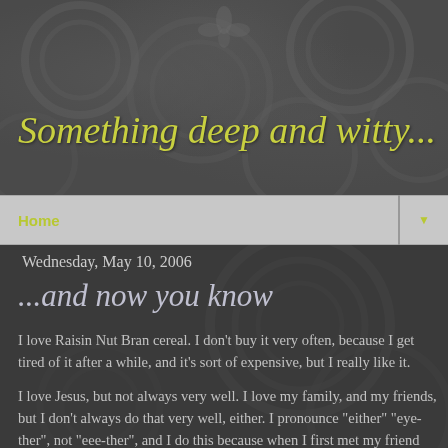Something deep and witty...
Home ▼
Wednesday, May 10, 2006
...and now you know
I love Raisin Nut Bran cereal. I don't buy it very often, because I get tired of it after a while, and it's sort of expensive, but I really like it.
I love Jesus, but not always very well. I love my family, and my friends, but I don't always do that very well, either. I pronounce "either" "eye-ther", not "eee-ther", and I do this because when I first met my friend Angie in the 8th grade, she said "eye-ther", and I thought that was so cool, so I started saying it that way, and it's since become habit. I do